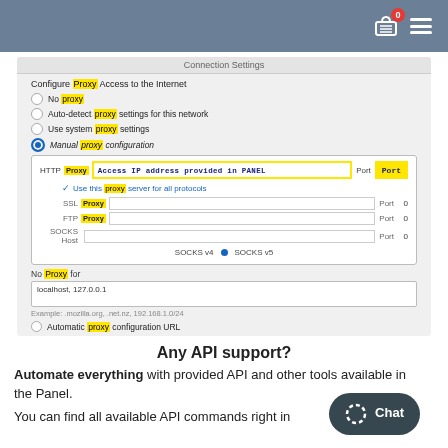Navigation header with cart icon (0 items) and hamburger menu
[Figure (screenshot): Connection Settings dialog showing proxy configuration options. Manual proxy configuration selected with HTTP Proxy field showing 'Access IP address provided in PANEL' highlighted in yellow border, Port field highlighted. SSL Proxy, FTP Proxy, SOCKS Host rows with Port 0. SOCKS v4 / SOCKS v5 options. No Proxy for: localhost, 127.0.0.1. Example text shown. Automatic proxy configuration URL option.]
Any API support?
Automate everything with provided API and other tools available in the Panel.
You can find all available API commands right in